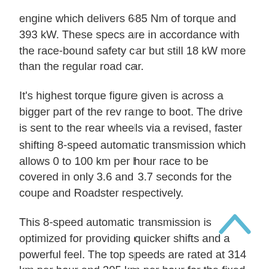engine which delivers 685 Nm of torque and 393 kW. These specs are in accordance with the race-bound safety car but still 18 kW more than the regular road car.
It's highest torque figure given is across a bigger part of the rev range to boot. The drive is sent to the rear wheels via a revised, faster shifting 8-speed automatic transmission which allows 0 to 100 km per hour race to be covered in only 3.6 and 3.7 seconds for the coupe and Roadster respectively.
This 8-speed automatic transmission is optimized for providing quicker shifts and a powerful feel. The top speeds are rated at 314 km per hour and 305 km per hour for the fixed roof and soft top body dimensions respectively.
All of this is not a surprise since the vehicle is the